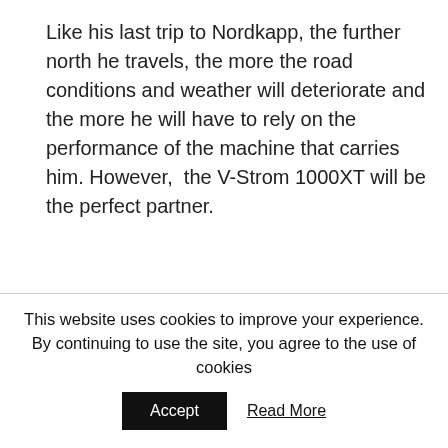Like his last trip to Nordkapp, the further north he travels, the more the road conditions and weather will deteriorate and the more he will have to rely on the performance of the machine that carries him. However,  the V-Strom 1000XT will be the perfect partner.
This website uses cookies to improve your experience. By continuing to use the site, you agree to the use of cookies
Accept
Read More